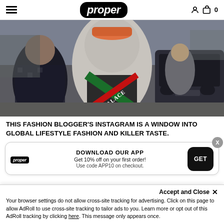proper
[Figure (photo): Street fashion photo showing a person from behind wearing a grey Palace hoodie with colorful graphic on the back, on a city street with other people and a dark SUV visible]
THIS FASHION BLOGGER'S INSTAGRAM IS A WINDOW INTO GLOBAL LIFESTYLE FASHION AND KILLER TASTE.
[Figure (infographic): App download banner with proper logo, text 'DOWNLOAD OUR APP - Get 10% off on your first order! Use code APP10 on checkout.' and a GET button]
Accept and Close ✕ Your browser settings do not allow cross-site tracking for advertising. Click on this page to allow AdRoll to use cross-site tracking to tailor ads to you. Learn more or opt out of this AdRoll tracking by clicking here. This message only appears once.